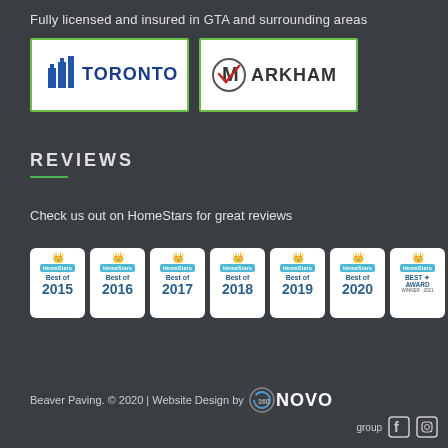Fully licensed and insured in GTA and surrounding areas
[Figure (logo): City of Toronto logo with blue buildings icon and TORONTO text]
[Figure (logo): Markham logo with red checkmark M and MARKHAM text]
REVIEWS
Check us out on HomeStars for great reviews
[Figure (illustration): Seven HomeStars Best of badges: 2015, 2016, 2017, 2018, 2019, 2020, and Best Award Winner 2021]
Beaver Paving. © 2020 | Website Design by 360 NOVO group